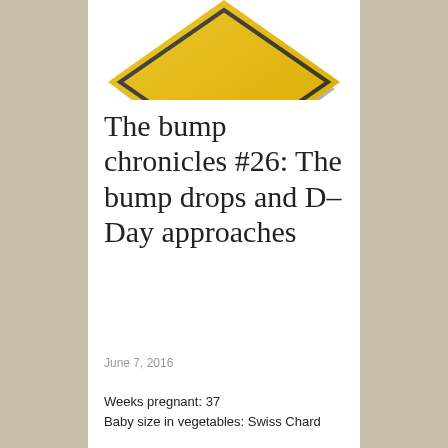[Figure (illustration): A yellow diamond-shaped caution/warning road sign, partially cropped at the top of the page, shown from below with only the lower half visible.]
The bump chronicles #26: The bump drops and D-Day approaches
June 7, 2016
Weeks pregnant: 37
Baby size in vegetables: Swiss Chard